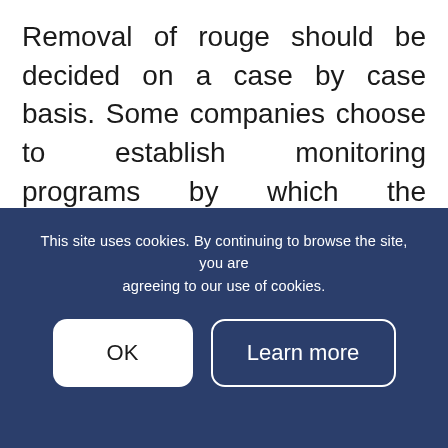Removal of rouge should be decided on a case by case basis. Some companies choose to establish monitoring programs by which the presence of rouge is observed and recorded for any changes in appearance or proliferation. This coupled with quality testing of product can often be sufficient to ensure that the presence of the rouge is not impacting product Safety, Identity
This site uses cookies. By continuing to browse the site, you are agreeing to our use of cookies.
Another approach is to aggressively remove all visible rouging from process systems.